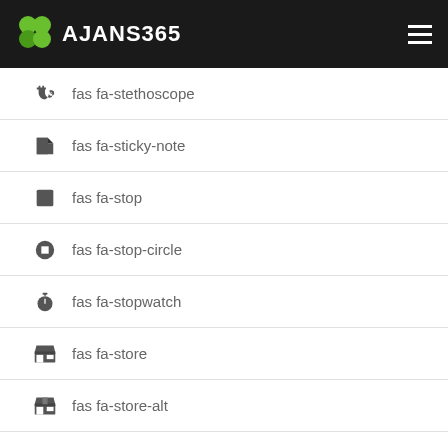AJANS365
fas fa-stethoscope
fas fa-sticky-note
fas fa-stop
fas fa-stop-circle
fas fa-stopwatch
fas fa-store
fas fa-store-alt